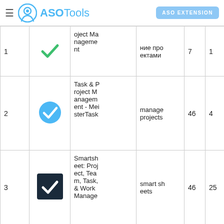ASOTools | ASO EXTENSION
| # | Icon | App Name | Keyword | Num1 | Num2 |
| --- | --- | --- | --- | --- | --- |
| 1 | [green checkmark] | oject Management | ние проектами | 7 | 1 |
| 2 | [blue checkmark] | Task & Project Management - MeisterTask | manage projects | 46 | 4 |
| 3 | [smartsheet icon] | Smartsheet: Project, Team, Task, & Work Manage | smart sheets | 46 | 25 |